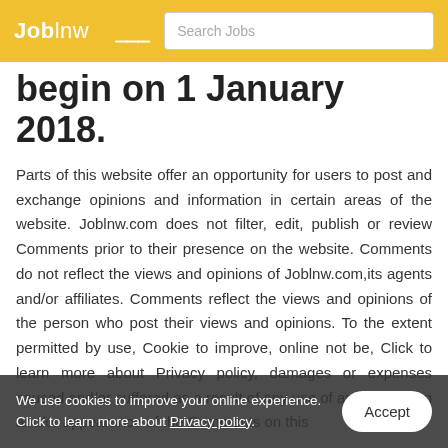JobInw  [hamburger]  Search Jobs
begin on 1 January 2018.
Parts of this website offer an opportunity for users to post and exchange opinions and information in certain areas of the website. Joblnw.com does not filter, edit, publish or review Comments prior to their presence on the website. Comments do not reflect the views and opinions of Joblnw.com,its agents and/or affiliates. Comments reflect the views and opinions of the person who post their views and opinions. To the extent permitted by use, Cookie to improve, online not be, Click to learn more about Privacy policy, damages or expenses caused and/or suffered as a result of any use of and/or posting and/or appearance of the Comments on this
We use cookies to improve your online experience. Click to learn more about Privacy policy.